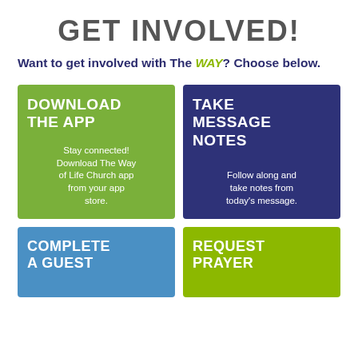GET INVOLVED!
Want to get involved with The WAY? Choose below.
[Figure (infographic): Green card with background photo overlay: title 'DOWNLOAD THE APP', body text 'Stay connected! Download The Way of Life Church app from your app store.']
[Figure (infographic): Dark blue card with background photo overlay: title 'TAKE MESSAGE NOTES', body text 'Follow along and take notes from today's message.']
[Figure (infographic): Light blue card with background photo overlay: title 'COMPLETE A GUEST' (partially visible)]
[Figure (infographic): Green card with background photo overlay: title 'REQUEST PRAYER' (partially visible)]